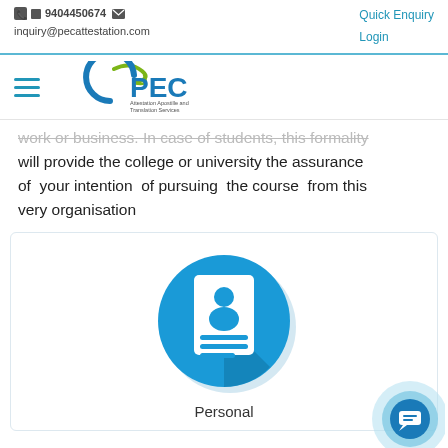9404450674  inquiry@pecattestation.com  |  Quick Enquiry  Login
[Figure (logo): PEC Attestation Apostille and Translation Services logo with green swoosh and blue PEC text]
work or business. In case of students, this formality will provide the college or university the assurance of your intention of pursuing the course from this very organisation
[Figure (illustration): Blue circular icon with a white ID card/personal document graphic showing a person silhouette and lines representing text]
Personal